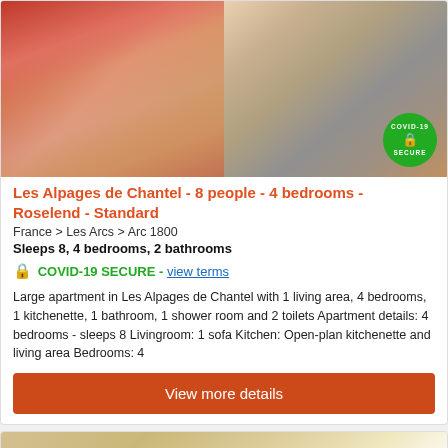[Figure (photo): Interior photo of apartment showing colorful bedding on left and wooden table with mugs on right, with COVID-19 SECURE badge overlay]
Les Alpages de Chantel - 8 people - 4 bedrooms - Roselend - Standard
France > Les Arcs > Arc 1800
Sleeps 8, 4 bedrooms, 2 bathrooms
🔒 COVID-19 SECURE - view terms
Large apartment in Les Alpages de Chantel with 1 living area, 4 bedrooms, 1 kitchenette, 1 bathroom, 1 shower room and 2 toilets Apartment details: 4 bedrooms - sleeps 8 Livingroom: 1 sofa Kitchen: Open-plan kitchenette and living area Bedrooms: 4
View more details
[Figure (photo): Partial view of another property interior showing wooden ceiling/walls]